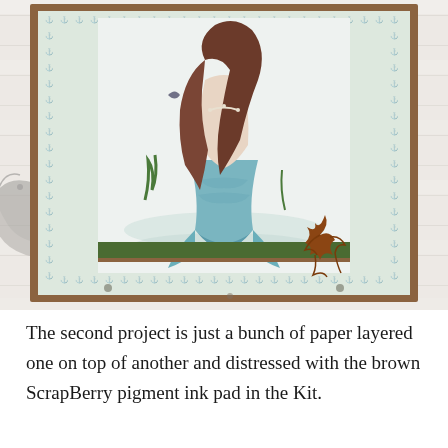[Figure (photo): A handmade craft card featuring a mermaid illustration centered on cream card stock, bordered by anchor-patterned paper in sage green/cream, mounted on kraft brown card base. A green ribbon band runs horizontally near the bottom of the mermaid image, with a rust-colored die-cut coral piece overlapping on the right. The card is propped on a white distressed wood background with large whale/fish stamp images on either side.]
The second project is just a bunch of paper layered one on top of another and distressed with the brown ScrapBerry pigment ink pad in the Kit.